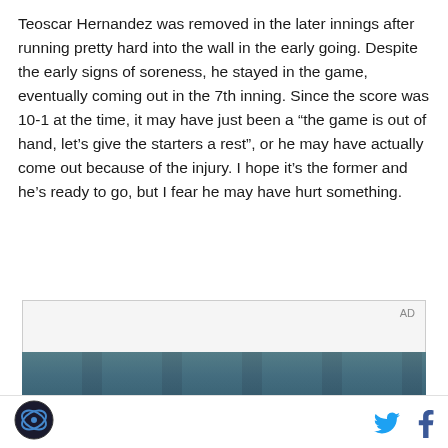Teoscar Hernandez was removed in the later innings after running pretty hard into the wall in the early going. Despite the early signs of soreness, he stayed in the game, eventually coming out in the 7th inning. Since the score was 10-1 at the time, it may have just been a “the game is out of hand, let’s give the starters a rest”, or he may have actually come out because of the injury. I hope it’s the former and he’s ready to go, but I fear he may have hurt something.
[Figure (other): Advertisement placeholder box with 'AD' label and a photo strip below showing an indoor venue with blue windows]
[Figure (logo): Sports website logo in bottom left footer]